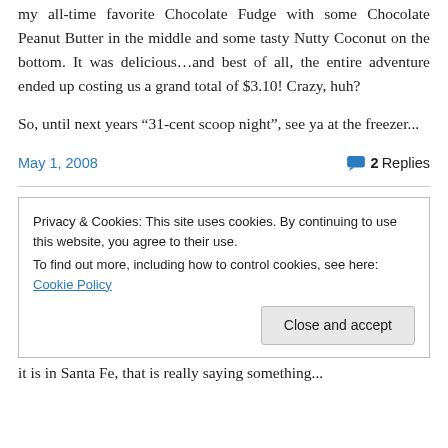my all-time favorite Chocolate Fudge with some Chocolate Peanut Butter in the middle and some tasty Nutty Coconut on the bottom. It was delicious…and best of all, the entire adventure ended up costing us a grand total of $3.10! Crazy, huh?
So, until next years “31-cent scoop night”, see ya at the freezer...
May 1, 2008    💬 2 Replies
Privacy & Cookies: This site uses cookies. By continuing to use this website, you agree to their use.
To find out more, including how to control cookies, see here: Cookie Policy
Close and accept
it is in Santa Fe, that is really saying something...